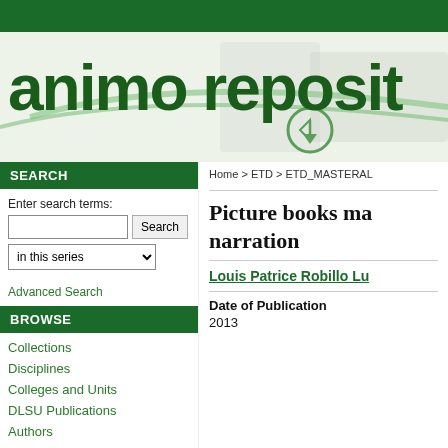[Figure (logo): Animo Repository website header logo with green swoosh design and text 'animo reposit' (partially visible)]
Home > ETD > ETD_MASTERAL
SEARCH
Enter search terms:
BROWSE
Advanced Search
Collections
Disciplines
Colleges and Units
DLSU Publications
Authors
Picture books ma narration
Louis Patrice Robillo Lu
Date of Publication
2013